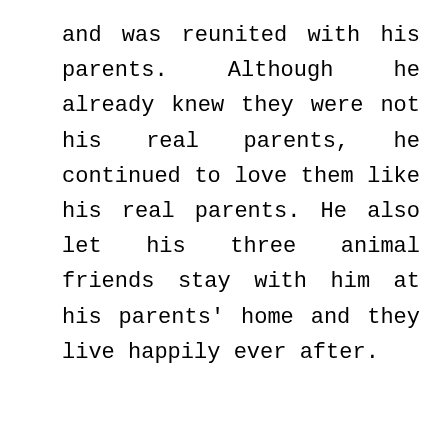and was reunited with his parents. Although he already knew they were not his real parents, he continued to love them like his real parents. He also let his three animal friends stay with him at his parents' home and they live happily ever after.